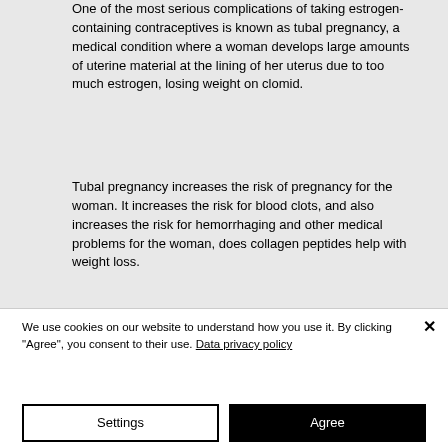One of the most serious complications of taking estrogen-containing contraceptives is known as tubal pregnancy, a medical condition where a woman develops large amounts of uterine material at the lining of her uterus due to too much estrogen, losing weight on clomid.
Tubal pregnancy increases the risk of pregnancy for the woman. It increases the risk for blood clots, and also increases the risk for hemorrhaging and other medical problems for the woman, does collagen peptides help with weight loss.
We use cookies on our website to understand how you use it. By clicking "Agree", you consent to their use. Data privacy policy